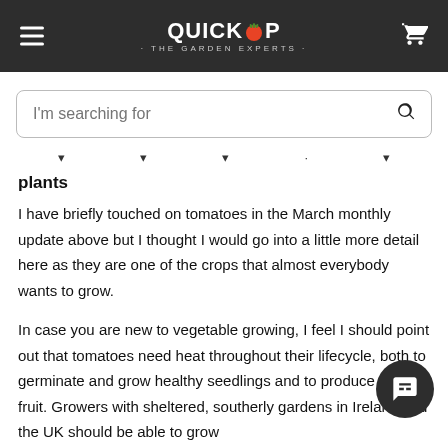QUICKCROP · THE GARDEN EXPERTS ·
[Figure (screenshot): Search bar with placeholder text 'I'm searching for' and a magnifying glass icon on the right]
plants
I have briefly touched on tomatoes in the March monthly update above but I thought I would go into a little more detail here as they are one of the crops that almost everybody wants to grow.
In case you are new to vegetable growing, I feel I should point out that tomatoes need heat throughout their lifecycle, both to germinate and grow healthy seedlings and to produce ripe fruit. Growers with sheltered, southerly gardens in Ireland and the UK should be able to grow